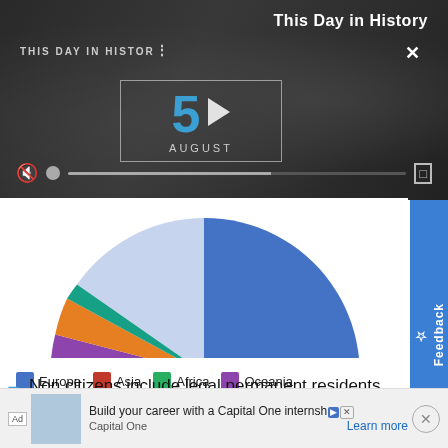[Figure (screenshot): Video player showing 'This Day in History' with date August 5, video controls including mute, progress bar, and fullscreen button. Background shows blurred news imagery.]
[Figure (pie-chart): Pie chart showing regional breakdown]
Non citizens include legal permanent residents (green card holders), international students, temporary
Ad  Build your career with a Capital One internship  Capital One  Learn more